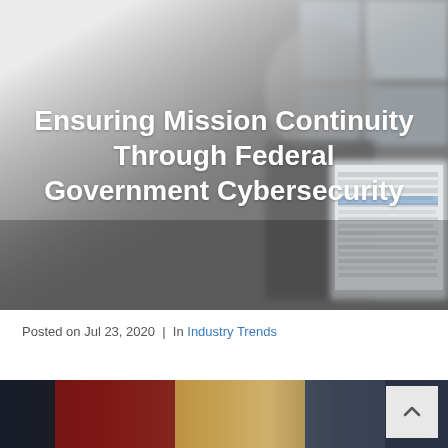[Figure (photo): Blurred background photo of a person in a suit standing behind a laptop displaying an email inbox. The image is desaturated/blurred with soft light coming from windows.]
Ensuring Mission Continuity Through Federal Government Cybersecurity
Posted on Jul 23, 2020  |  In Industry Trends
[Figure (photo): Partial photo visible at bottom of page showing a dark office environment with red and light elements, partially cropped.]